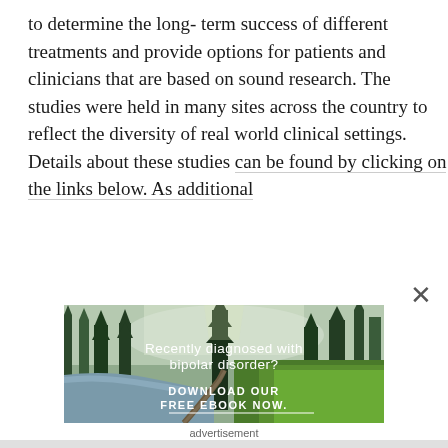to determine the long- term success of different treatments and provide options for patients and clinicians that are based on sound research. The studies were held in many sites across the country to reflect the diversity of real world clinical settings. Details about these studies can be found by clicking on the links below. As additional
[Figure (photo): Advertisement banner showing a forest scene with pine trees, a stream, and green grass. Text overlay reads 'Recently diagnosed with bipolar disorder?' and 'DOWNLOAD OUR FREE EBOOK NOW.' with a white underline. Caption below reads 'advertisement'.]
advertisement